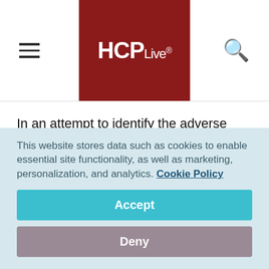HCPLive®
In an attempt to identify the adverse alterations in the tendon's physiological properties as a result of RA and AS, Verena Matschke, MD, and colleagues from the School of Sport, Health, and Exercise Sciences at Bangor University in Wales compared 18 stable RA patients to 18 age- and
This website stores data such as cookies to enable essential site functionality, as well as marketing, personalization, and analytics. Cookie Policy
Accept
Deny